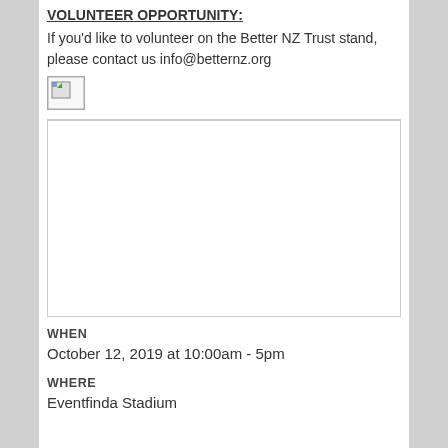VOLUNTEER OPPORTUNITY:
If you'd like to volunteer on the Better NZ Trust stand, please contact us info@betternz.org
[Figure (photo): Broken/missing image placeholder with small icon]
[Figure (photo): Large image area (missing/not loaded), white rectangle with border]
WHEN
October 12, 2019 at 10:00am - 5pm
WHERE
Eventfinda Stadium